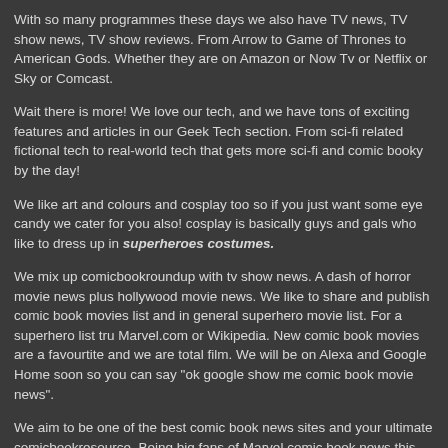With so many programmes these days we also have TV news, TV show news, TV show reviews. From Arrow to Game of Thrones to American Gods. Whether they are on Amazon or Now Tv or Netflix or Sky or Comcast.
Wait there is more! We love our tech, and we have tons of exciting features and articles in our Geek Tech section. From sci-fi related fictional tech to real-world tech that gets more sci-fi and comic booky by the day!
We like art and colours and cosplay too so if you just want some eye candy we cater for you also! cosplay is basically guys and gals who like to dress up in superheroes costumes.
We mix up comicbookroundup with tv show news. A dash of horror movie news plus hollywood movie news. We like to share and publish comic book movies list and in general superhero movie list. For a superhero list tru Marvel.com or Wikipedia. New comic book movies are a favourtite and we are total film. We will be on Alexa and Google Home soon so you can say "ok google show me comic book movie news".
We aim to be one of the best comic book news sites and your ultimate comicbookresource. Being big fans of Marvel comic book news this should be on of your main comic book resources. We will do reviews like ign comic reviews and might even have a go at reviewing comic book stores themselves. Newsarama comics we are not.
Get your movie news, movie entertainment news from one of the foremost movie news websites called EpicHeroes. Whilst we are not a full comic book resources forum because we share comic book news and comic book info and talk about comic book movies, we are the next best thing. We'll try to fullfill your needs for as specific as a comic book resources forum Batman